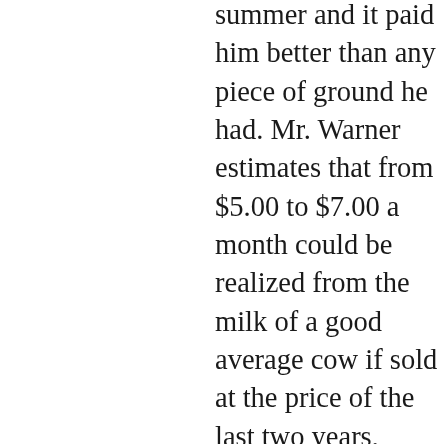summer and it paid him better than any piece of ground he had. Mr. Warner estimates that from $5.00 to $7.00 a month could be realized from the milk of a good average cow if sold at the price of the last two years, provided, of course, that the cow be given proper attention, but said: "We, myself among them, are starving the dairy out, and what will become of it is hard to tell." The JOURNAL is free to acknowledge that it entertained many misgivings of the enterprise at the time it was projected but in the time it has been in operation the makers of good butter in the territory it has covered have received more than double the price for the butter sold at this place than they received before the dairy was started, or perhaps will receive again if it is allowed to go down. Consequently the farmers have been greatly benefitted, if the stockholders have not. In that way the dairy has been a success. We